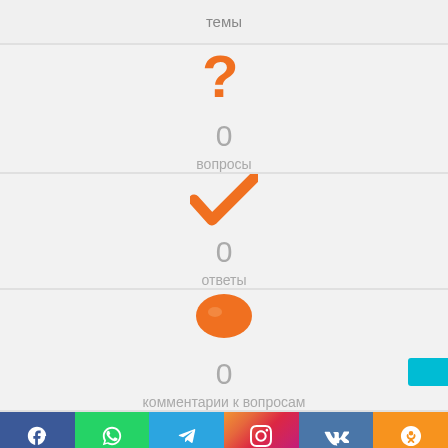темы
[Figure (illustration): Orange question mark icon]
0
вопросы
[Figure (illustration): Orange check mark icon]
0
ответы
[Figure (illustration): Orange speech bubble / comment icon]
0
комментарии к вопросам
f  (WhatsApp) (Telegram) (Instagram) ВК (Одноклассники)